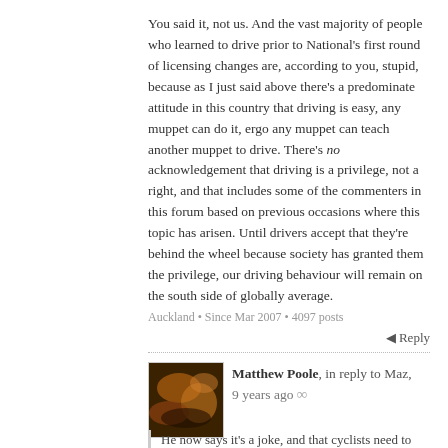You said it, not us. And the vast majority of people who learned to drive prior to National's first round of licensing changes are, according to you, stupid, because as I just said above there's a predominate attitude in this country that driving is easy, any muppet can do it, ergo any muppet can teach another muppet to drive. There's no acknowledgement that driving is a privilege, not a right, and that includes some of the commenters in this forum based on previous occasions where this topic has arisen. Until drivers accept that they're behind the wheel because society has granted them the privilege, our driving behaviour will remain on the south side of globally average.
Auckland • Since Mar 2007 • 4097 posts
Reply
Matthew Poole, in reply to Maz, 9 years ago ∞
[Figure (photo): Avatar photo with dark reddish-brown tones, appears to be an abstract or nature photo]
He now says it's a joke, and that cyclists need to have a better sense of humour